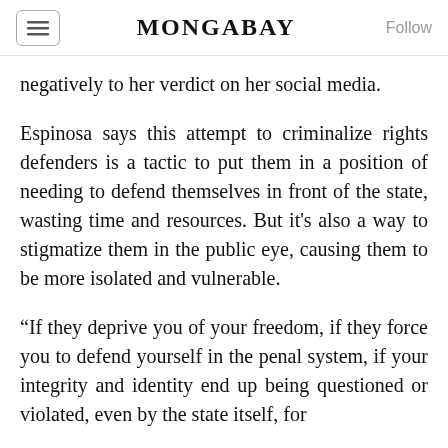MONGABAY
negatively to her verdict on her social media.
Espinosa says this attempt to criminalize rights defenders is a tactic to put them in a position of needing to defend themselves in front of the state, wasting time and resources. But it's also a way to stigmatize them in the public eye, causing them to be more isolated and vulnerable.
“If they deprive you of your freedom, if they force you to defend yourself in the penal system, if your integrity and identity end up being questioned or violated, even by the state itself, for